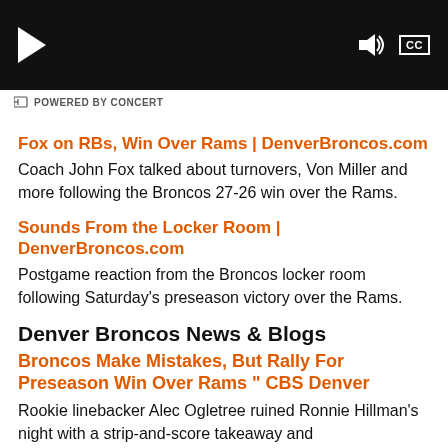[Figure (screenshot): Video player with black background showing play button on left and volume/CC controls on right]
POWERED BY CONCERT
Fox on RBs, Win Over Rams | DenverBroncos.com
Coach John Fox talked about turnovers, Von Miller and more following the Broncos 27-26 win over the Rams.
Sounds From the Locker Room | DenverBroncos.com
Postgame reaction from the Broncos locker room following Saturday's preseason victory over the Rams.
Denver Broncos News & Blogs
Broncos Make Mistakes, But Rally For Preseason Win Over Rams " CBS Denver
Rookie linebacker Alec Ogletree ruined Ronnie Hillman's night with a strip-and-score takeaway and